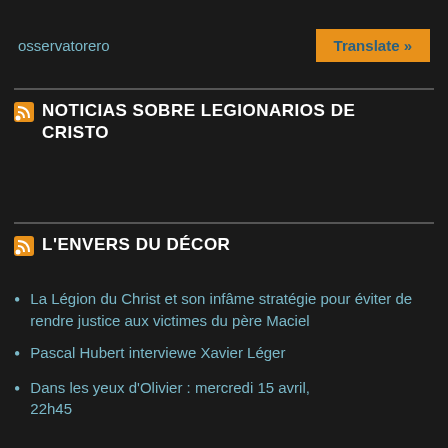osservatorero...
Translate »
NOTICIAS SOBRE LEGIONARIOS DE CRISTO
L'ENVERS DU DÉCOR
La Légion du Christ et son infâme stratégie pour éviter de rendre justice aux victimes du père Maciel
Pascal Hubert interviewe Xavier Léger
Dans les yeux d'Olivier : mercredi 15 avril, 22h45